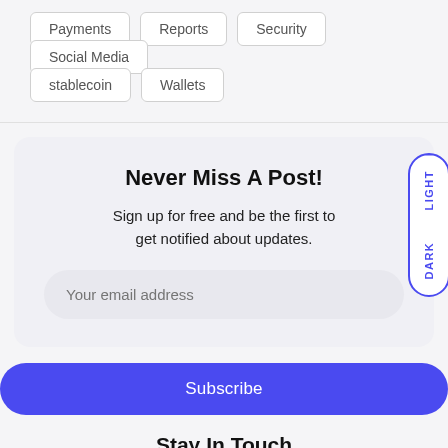Payments
Reports
Security
Social Media
stablecoin
Wallets
Never Miss A Post!
Sign up for free and be the first to get notified about updates.
Your email address
Subscribe
Stay In Touch